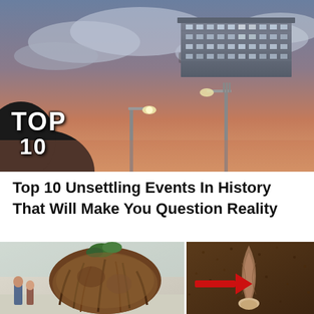[Figure (photo): A surreal photo composite showing a large multi-story building floating in a dramatic cloudy sky above street lamps, with a person's head silhouette in the lower left. Overlaid text reads 'TOP 10' in bold white letters.]
Top 10 Unsettling Events In History That Will Make You Question Reality
[Figure (photo): Two-panel image: left panel shows a tree with exposed roots pulled from soil in an indoor/exhibition setting with people in background; right panel shows a close-up of what appears to be a buried object or figure partially exposed in dark soil, with a red arrow pointing to it from the left.]